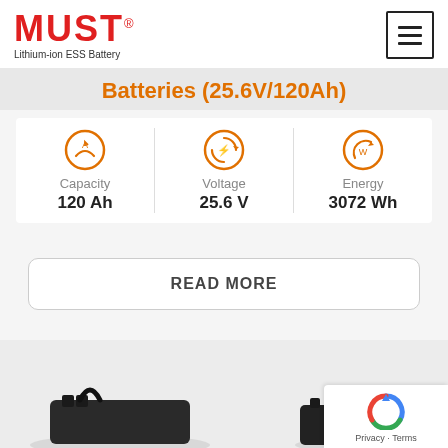[Figure (logo): MUST Lithium-ion ESS Battery logo in red text with registered trademark symbol]
Batteries (25.6V/120Ah)
Capacity: 120 Ah | Voltage: 25.6 V | Energy: 3072 Wh
READ MORE
[Figure (photo): Product photo showing black lithium-ion ESS battery units]